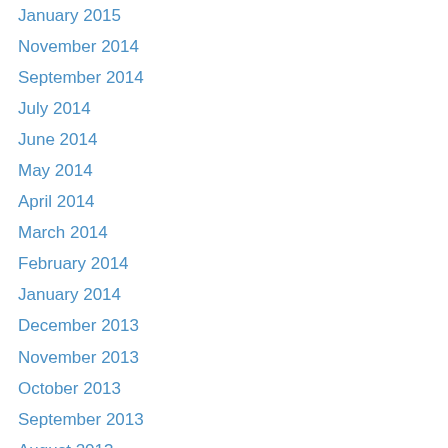January 2015
November 2014
September 2014
July 2014
June 2014
May 2014
April 2014
March 2014
February 2014
January 2014
December 2013
November 2013
October 2013
September 2013
August 2013
July 2013
June 2013
May 2013
April 2013
March 2013